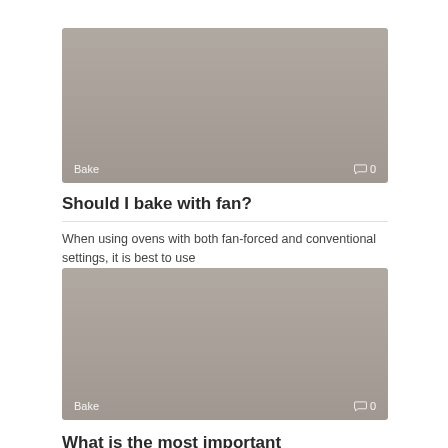[Figure (photo): Greyed out placeholder image for a baking article, with 'Bake' tag and comment count '0' overlaid at the bottom.]
Should I bake with fan?
When using ovens with both fan-forced and conventional settings, it is best to use
[Figure (photo): Greyed out placeholder image for a second baking article, with 'Bake' tag and comment count '0' overlaid at the bottom.]
What is the most important